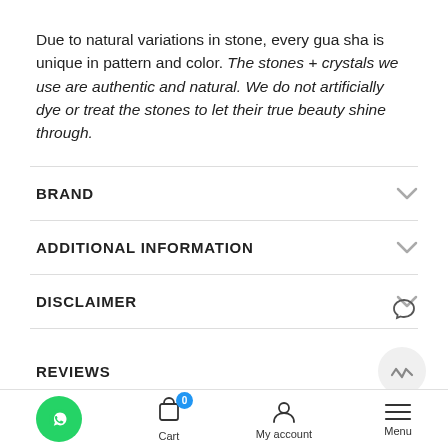Due to natural variations in stone, every gua sha is unique in pattern and color. The stones + crystals we use are authentic and natural. We do not artificially dye or treat the stones to let their true beauty shine through.
BRAND
ADDITIONAL INFORMATION
DISCLAIMER
REVIEWS
★★★★★
Cart  My account  Menu